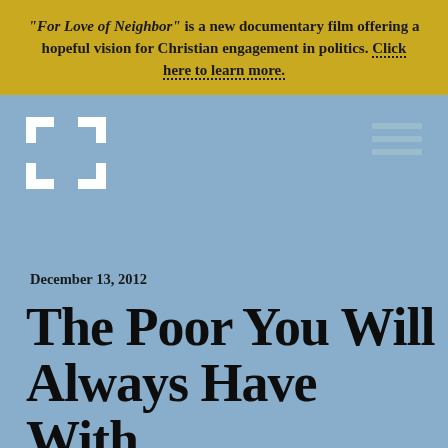"For Love of Neighbor" is a new documentary film offering a hopeful vision for Christian engagement in politics. Click here to learn more.
[Figure (logo): Cross/grid logo made of white square bracket shapes forming a cross pattern]
[Figure (other): Hamburger menu icon with three horizontal gray lines]
December 13, 2012
The Poor You Will Always Have With